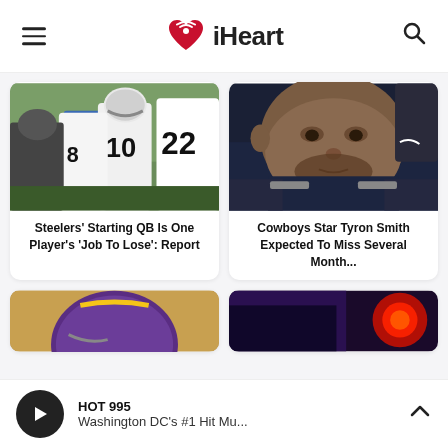iHeart
[Figure (photo): Pittsburgh Steelers players in white jerseys at practice, numbers 10, 8, 22 visible]
Steelers' Starting QB Is One Player's 'Job To Lose': Report
[Figure (photo): Cowboys star Tyron Smith in dark navy uniform, close-up portrait]
Cowboys Star Tyron Smith Expected To Miss Several Month...
[Figure (photo): Partially visible image with purple helmet]
[Figure (photo): Partially visible image with red light in background]
HOT 995 Washington DC's #1 Hit Mu...